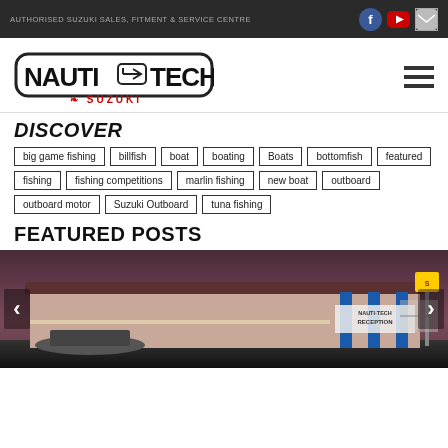AUTHORISED SUZUKI SALES, FITMENT & SERVICE CENTRE
[Figure (logo): NautiTech logo with Suzuki branding below]
DISCOVER
big game fishing
billfish
boat
boating
Boats
bottomfish
featured
fishing
fishing competitions
marlin fishing
new boat
outboard
outboard motor
Suzuki Outboard
tuna fishing
FEATURED POSTS
[Figure (photo): Exterior photo of Nauti-Tech Suzuki service centre building at dusk, lit with blue columns and a glowing Suzuki sign, with a boat and reception sign visible]